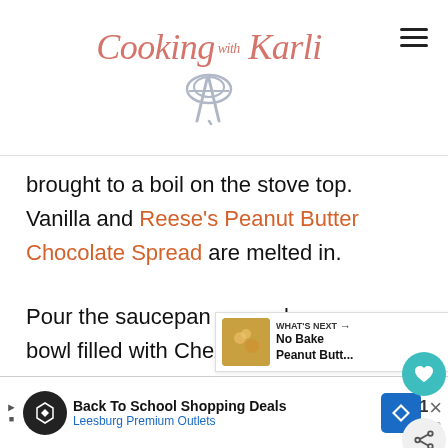Cooking with Karli
brought to a boil on the stove top. Vanilla and Reese's Peanut Butter Chocolate Spread are melted in.
Pour the saucepan over a large bowl filled with Chex cereal. Quickly stir to coat. Pour directly over the peanut lined pan and press into place.
[Figure (other): What's Next widget showing a thumbnail image and text 'No Bake Peanut Butt...']
[Figure (other): Advertisement banner: Back To School Shopping Deals, Leesburg Premium Outlets]